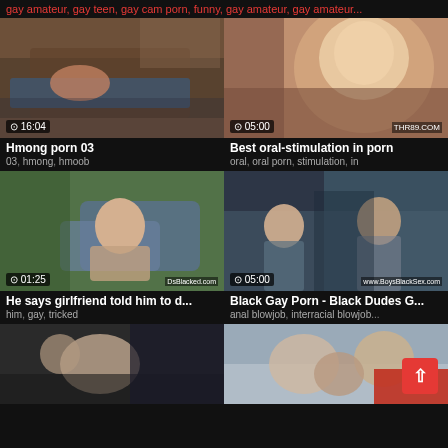gay amateur, gay teen, gay cam porn, funny, gay amateur, gay amateur...
[Figure (screenshot): Video thumbnail - Hmong porn 03, duration 16:04]
Hmong porn 03
03, hmong, hmoob
[Figure (screenshot): Video thumbnail - Best oral-stimulation in porn, duration 05:00, watermark THR89.COM]
Best oral-stimulation in porn
oral, oral porn, stimulation, in
[Figure (screenshot): Video thumbnail - He says girlfriend told him to d..., duration 01:25, watermark DsBlacked.com]
He says girlfriend told him to d...
him, gay, tricked
[Figure (screenshot): Video thumbnail - Black Gay Porn - Black Dudes G..., duration 05:00, watermark www.BoysBlackSex.com]
Black Gay Porn - Black Dudes G...
anal blowjob, interracial blowjob...
[Figure (screenshot): Video thumbnail - partial, bottom left]
[Figure (screenshot): Video thumbnail - partial, bottom right]